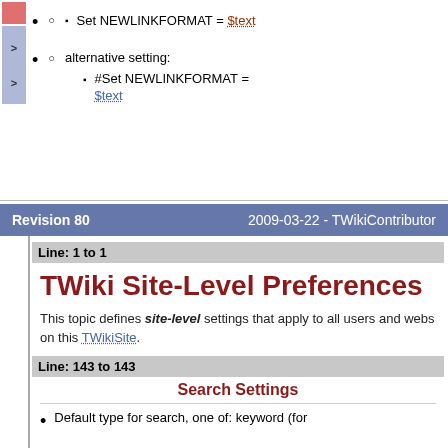Set NEWLINKFORMAT = $text
alternative setting: #Set NEWLINKFORMAT = $text
Revision 80   2009-03-22 - TWikiContributor
Line: 1 to 1
TWiki Site-Level Preferences
This topic defines site-level settings that apply to all users and webs on this TWikiSite.
Line: 143 to 143
Search Settings
Default type for search, one of: keyword (for